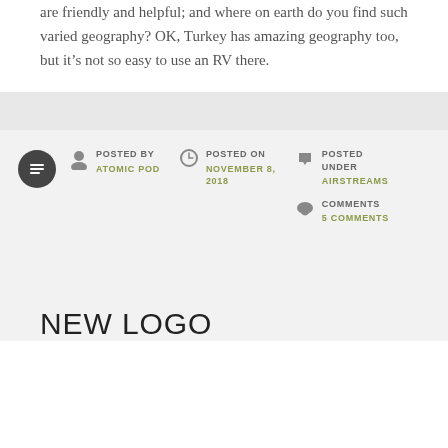are friendly and helpful; and where on earth do you find such varied geography? OK, Turkey has amazing geography too, but it's not so easy to use an RV there.
POSTED BY
ATOMIC POD
POSTED ON
NOVEMBER 8, 2018
POSTED UNDER
AIRSTREAMS
COMMENTS
5 COMMENTS
NEW LOGO